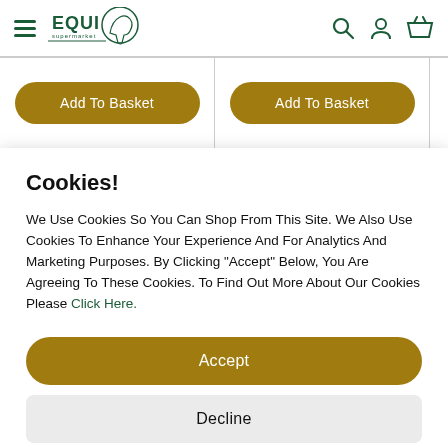EQUI supermarket — navigation header with hamburger menu, logo, search, account, and basket icons
[Figure (screenshot): Two 'Add To Basket' buttons side by side, gold/brown rounded pill style]
Cookies!
We Use Cookies So You Can Shop From This Site. We Also Use Cookies To Enhance Your Experience And For Analytics And Marketing Purposes. By Clicking "Accept" Below, You Are Agreeing To These Cookies. To Find Out More About Our Cookies Please Click Here.
Accept
Decline